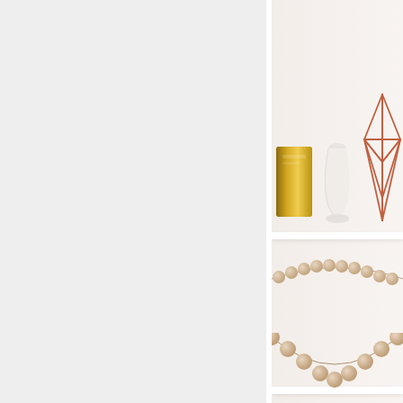[Figure (photo): A split image: left side is a plain light gray background taking up about two-thirds of the width; right side shows a white shelving unit decorated with a gold metallic candle holder, a small white vase, a copper geometric diamond wire sculpture on the top shelf, and a strand of natural wood bead garland draped across the lower shelves in a swag pattern.]